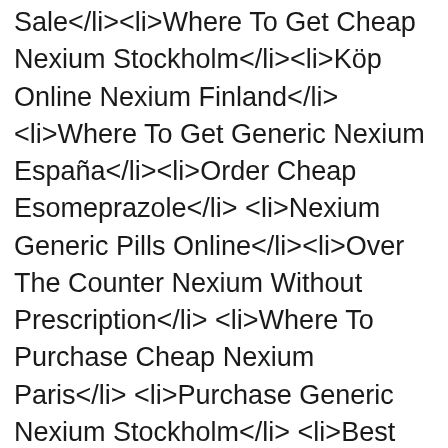Sale</li><li>Where To Get Cheap Nexium Stockholm</li><li>Köp Online Nexium Finland</li><li>Where To Get Generic Nexium España</li><li>Order Cheap Esomeprazole</li><li>Nexium Generic Pills Online</li><li>Over The Counter Nexium Without Prescription</li><li>Where To Purchase Cheap Nexium Paris</li><li>Purchase Generic Nexium Stockholm</li><li>Best Place To Buy Nexium 20 mg Online Canada</li><li>Where To Get Online Nexium England</li><li>Ou Acheter Du Nexium Sans Ordonnance</li><li>Conseil Acheter Esomeprazole</li><li>How Much Does A Prescription For Esomeprazole Cost</li><li>Buy Online Nexium Gb</li><li>Esomeprazole Pills